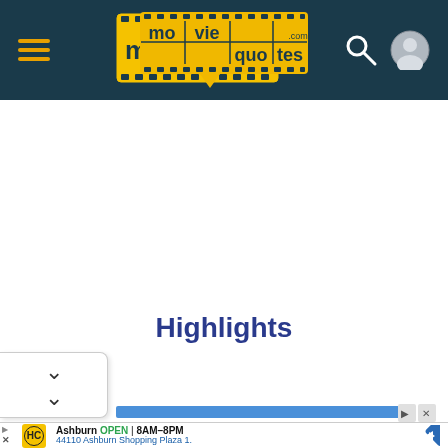moviequotes.com — navigation header with hamburger menu, logo, search and user icons
Highlights
[Figure (screenshot): Advertisement banner: HC logo (yellow), Ashburn OPEN 8AM-8PM, 44110 Ashburn Shopping Plaza 1., navigation arrow icon]